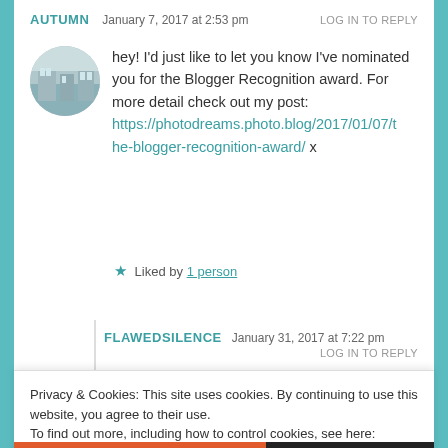AUTUMN   January 7, 2017 at 2:53 pm   LOG IN TO REPLY
[Figure (photo): Circular avatar photo showing a building/street scene in muted blue-gray tones]
hey! I'd just like to let you know I've nominated you for the Blogger Recognition award. For more detail check out my post: https://photodreams.photo.blog/2017/01/07/the-blogger-recognition-award/ x
★ Liked by 1 person
FLAWEDSILENCE   January 31, 2017 at 7:22 pm
LOG IN TO REPLY
Privacy & Cookies: This site uses cookies. By continuing to use this website, you agree to their use.
To find out more, including how to control cookies, see here: Cookie Policy
Close and accept